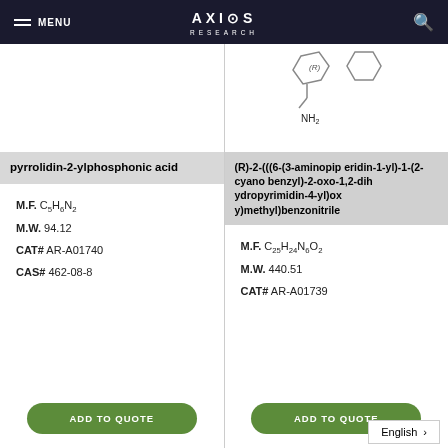MENU | AXIOS RESEARCH | [search icon]
[Figure (illustration): Chemical structure placeholder for pyrrolidin-2-ylphosphonic acid (left column, partially visible)]
pyrrolidin-2-ylphosphonic acid
M.F. C5H6N2
M.W. 94.12
CAT# AR-A01740
CAS# 462-08-8
ADD TO QUOTE
[Figure (illustration): Chemical structure of (R)-2-(((6-(3-aminopiperidin-1-yl)-1-(2-cyanobenzyl)-2-oxo-1,2-dihydropyrimidin-4-yl)oxy)methyl)benzonitrile showing (R) stereocentre with NH2 group and aromatic rings]
(R)-2-(((6-(3-aminopiperidin-1-yl)-1-(2-cyanobenzyl)-2-oxo-1,2-dihydropyrimidin-4-yl)oxy)methyl)benzonitrile
M.F. C25H24N6O2
M.W. 440.51
CAT# AR-A01739
ADD TO QUOTE
English >